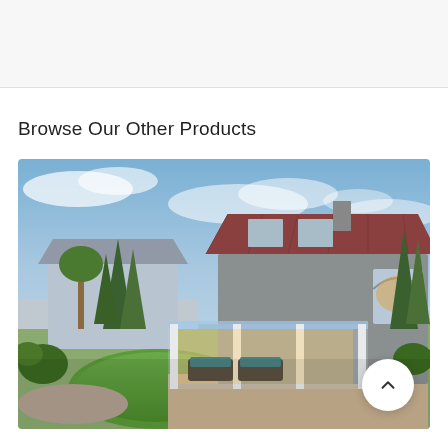Browse Our Other Products
[Figure (photo): Exterior photo of a two-story stucco house with a red tile roof, illuminated covered patio with outdoor furniture, circular lawn, palm trees and cypress trees in background, taken at dusk with blue sky and clouds.]